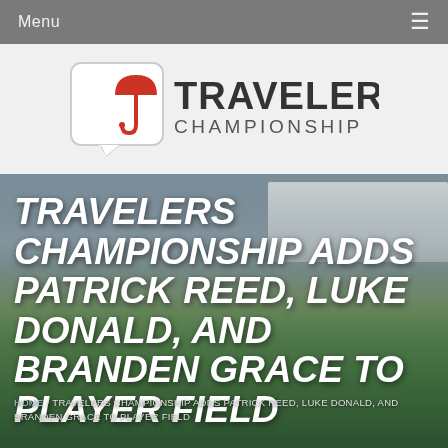Menu ≡
[Figure (logo): Travelers Championship logo with red umbrella icon in speech bubble and bold text TRAVELERS CHAMPIONSHIP]
[Figure (photo): Aerial view of golf course with large crowd in stands and green fairway]
TRAVELERS CHAMPIONSHIP ADDS PATRICK REED, LUKE DONALD, AND BRANDEN GRACE TO PLAYER FIELD
Home / TRAVELERS CHAMPIONSHIP ADDS PATRICK REED, LUKE DONALD, AND BRANDEN GRACE TO PLAYER FIELD